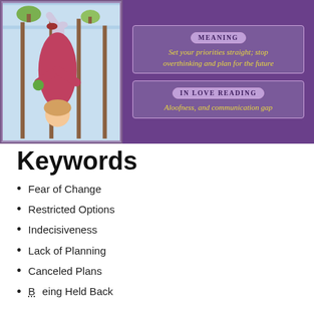[Figure (illustration): Tarot card shown upside down — a figure in red robes hanging or standing inverted, holding staffs, against a light blue background. The card is displayed reversed/upside-down.]
[Figure (infographic): Purple panel with two labeled boxes: 'Meaning' box with text 'Set your priorities straight; stop overthinking and plan for the future' and 'In Love Reading' box with text 'Aloofness, and communication gap'. Both labels styled with decorative pill-shaped borders.]
Keywords
Fear of Change
Restricted Options
Indecisiveness
Lack of Planning
Canceled Plans
Being Held Back